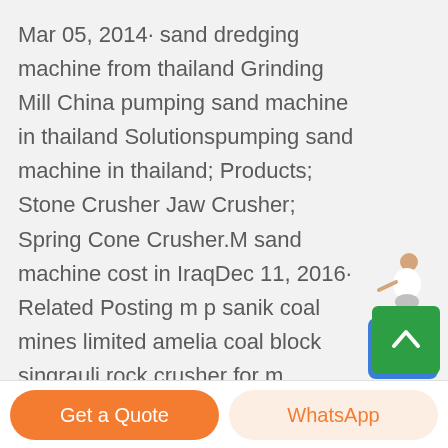Mar 05, 2014· sand dredging machine from thailand Grinding Mill China pumping sand machine in thailand Solutionspumping sand machine in thailand; Products; Stone Crusher Jaw Crusher; Spring Cone Crusher.M sand machine cost in IraqDec 11, 2016· Related Posting m p sanik coal mines limited amelia coal block singrauli rock crusher for m ...
[Figure (illustration): Free chat widget with a person illustration above a blue button labeled 'Free chat']
[Figure (illustration): Green scroll-to-top button with an upward arrow icon]
Get a Quote
WhatsApp